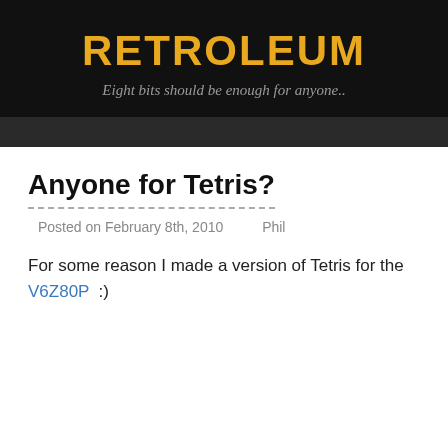RETROLEUM
Eight bits should be enough for anyone..
Anyone for Tetris?
Posted on February 8th, 2010   Phil
For some reason I made a version of Tetris for the V6Z80P  :)